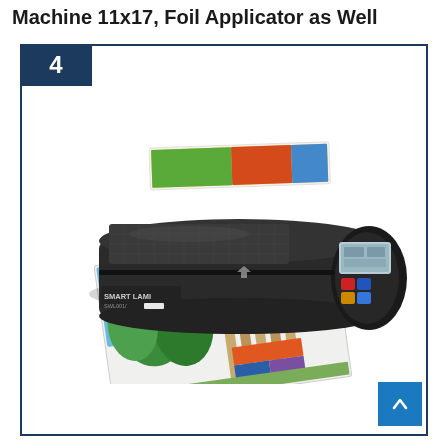Machine 11x17, Foil Applicator as Well
[Figure (photo): Product photo of a Smart Lami laminator machine (11x17 size) in black, shown laminating a colorful photo print. The machine has a digital display and colored buttons on the right side. A laminated photo with outdoor/architectural scene is coming out of the front.]
[Figure (other): Blue back-to-top navigation button with upward chevron arrow, positioned at bottom right of card]